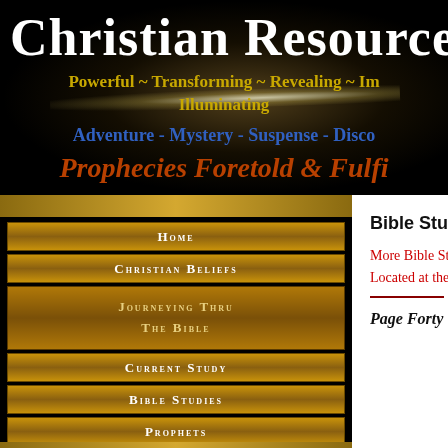Christian Resources
Powerful ~ Transforming ~ Revealing ~ Illuminating
Adventure - Mystery - Suspense - Discovery
Prophecies Foretold & Fulfilled
Home
Christian Beliefs
Journeying Thru The Bible
Current Study
Bible Studies
Prophets
Bible Study Online
More Bible Study Online -
Located at the Bottom
Page Forty